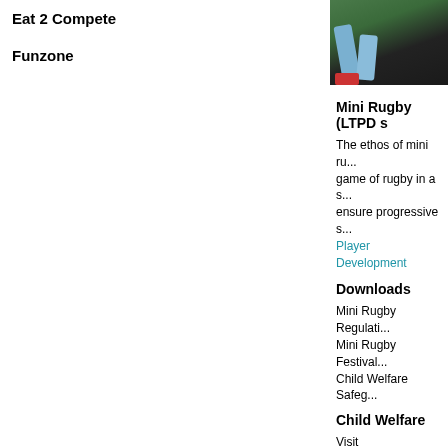Eat 2 Compete
Funzone
[Figure (photo): Photo of rugby players legs and feet during a match, showing blue socks and red boots on grass]
Mini Rugby (LTPD s
The ethos of mini ru... game of rugby in a s... ensure progressive s... Player Development
Downloads
Mini Rugby Regulati...
Mini Rugby Festival...
Child Welfare Safeg...
Child Welfare
Visit www.irishrugby...
Code of Conduct